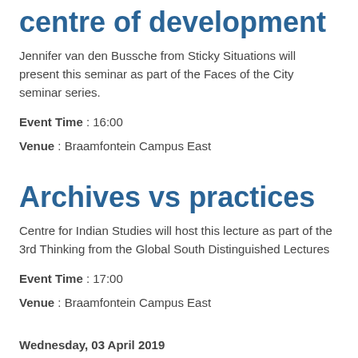centre of development
Jennifer van den Bussche from Sticky Situations will present this seminar as part of the Faces of the City seminar series.
Event Time : 16:00
Venue : Braamfontein Campus East
Archives vs practices
Centre for Indian Studies will host this lecture as part of the 3rd Thinking from the Global South Distinguished Lectures
Event Time : 17:00
Venue : Braamfontein Campus East
Wednesday, 03 April 2019